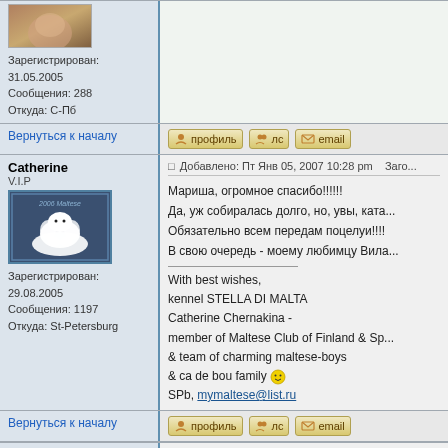Зарегистрирован: 31.05.2005
Сообщения: 288
Откуда: С-Пб
Вернуться к началу
профиль  лс  email
Catherine
V.I.P
[Figure (photo): Avatar image of a white Maltese dog on dark blue background with 2006 Maltese text]
Зарегистрирован: 29.08.2005
Сообщения: 1197
Откуда: St-Petersburg
Добавлено: Пт Янв 05, 2007 10:28 pm   Заго...
Мариша, огромное спасибо!!!!!!
Да, уж собиралась долго, но, увы, ката...
Обязательно всем передам поцелуи!!!!
В свою очередь - моему любимцу Вила...
With best wishes,
kennel STELLA DI MALTA
Catherine Chernakina -
member of Maltese Club of Finland & Sp...
& team of charming maltese-boys
& ca de bou family
SPb, mymaltese@list.ru
Вернуться к началу
профиль  лс  email
СПИКЕР
Постоялец
Добавлено: Чт Май 24, 2007 3:08 pm   Зало...